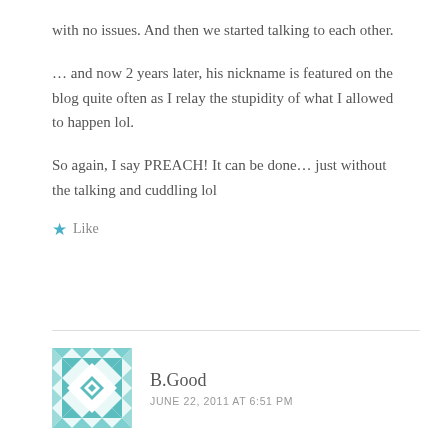with no issues. And then we started talking to each other.
… and now 2 years later, his nickname is featured on the blog quite often as I relay the stupidity of what I allowed to happen lol.
So again, I say PREACH! It can be done… just without the talking and cuddling lol
★ Like
B.Good
JUNE 22, 2011 AT 6:51 PM
Yeah, I've broken every rule, and am actually in the